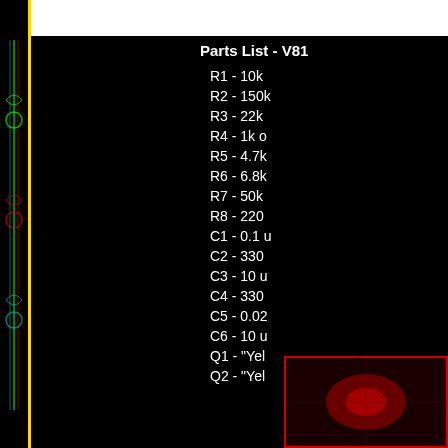Parts List - V81
R1 - 10k
R2 - 150k
R3 - 22k
R4 - 1k o
R5 - 4.7k
R6 - 6.8k
R7 - 50k
R8 - 220
C1 - 0.1 u
C2 - 330
C3 - 10 u
C4 - 330
C5 - 0.02
C6 - 10 u
Q1 - "Yel
Q2 - "Yel
[Figure (other): Small circuit board image at bottom right]